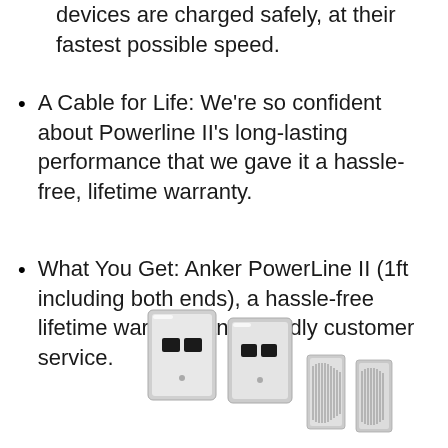devices are charged safely, at their fastest possible speed.
A Cable for Life: We're so confident about Powerline II's long-lasting performance that we gave it a hassle-free, lifetime warranty.
What You Get: Anker PowerLine II (1ft including both ends), a hassle-free lifetime warranty and friendly customer service.
[Figure (photo): Four USB and Lightning connector ends shown side by side: two larger USB-A plugs on the left and two smaller Lightning connectors on the right, all silver/white in color against a white background.]